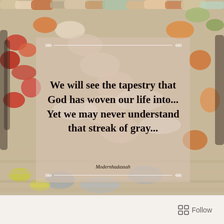[Figure (photo): A close-up photo of a colorful woven textile/tapestry with fibrous threads in cream, orange, red, green, and gray tones filling the background of the image.]
We will see the tapestry that God has woven our life into... Yet we may never understand that streak of gray...
Modernhadassah
Follow